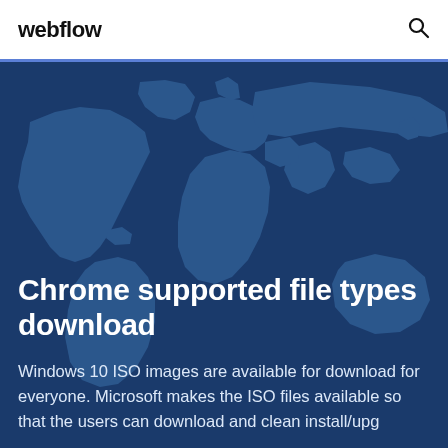webflow
[Figure (illustration): World map illustration with teal/blue tones on dark navy background]
Chrome supported file types download
Windows 10 ISO images are available for download for everyone. Microsoft makes the ISO files available so that the users can download and clean install/upg